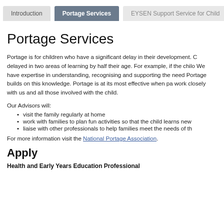Introduction | Portage Services | EYSEN Support Service for Child
Portage Services
Portage is for children who have a significant delay in their development. delayed in two areas of learning by half their age. For example, if the chil We have expertise in understanding, recognising and supporting the nee Portage builds on this knowledge. Portage is at its most effective when pa work closely with us and all those involved with the child.
Our Advisors will:
visit the family regularly at home
work with families to plan fun activities so that the child learns ne
liaise with other professionals to help families meet the needs of t
For more information visit the National Portage Association.
Apply
Health and Early Years Education Professional